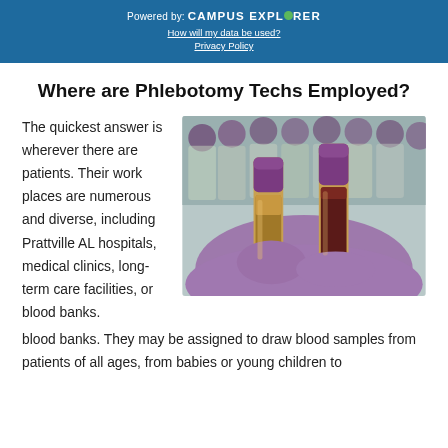Powered by: CAMPUS EXPLORER
How will my data be used?
Privacy Policy
Where are Phlebotomy Techs Employed?
The quickest answer is wherever there are patients. Their work places are numerous and diverse, including Prattville AL hospitals, medical clinics, long-term care facilities, or blood banks. They may be assigned to draw blood samples from patients of all ages, from babies or young children to
[Figure (photo): A gloved hand (purple latex glove) holding two blood collection tubes with purple caps, with a rack of additional tubes in the background. Medical laboratory setting.]